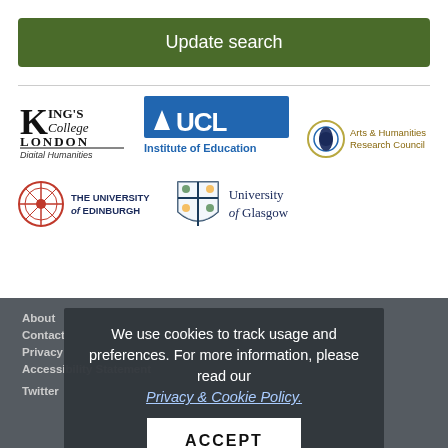Update search
[Figure (logo): King's College London Digital Humanities logo]
[Figure (logo): UCL Institute of Education logo]
[Figure (logo): Arts & Humanities Research Council logo]
[Figure (logo): The University of Edinburgh logo]
[Figure (logo): University of Glasgow logo]
About
Contact
Privacy
Accessibility Statement
Twitter
We use cookies to track usage and preferences. For more information, please read our Privacy & Cookie Policy.
ACCEPT